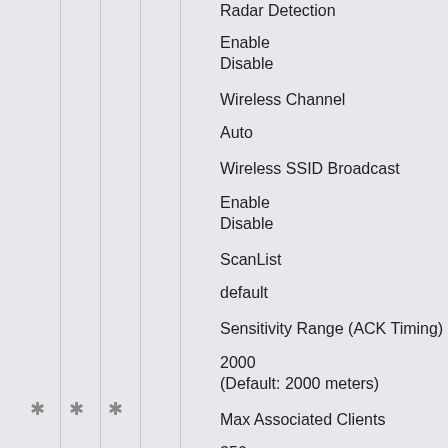Radar Detection
Enable
Disable
Wireless Channel
Auto
Wireless SSID Broadcast
Enable
Disable
ScanList
default
Sensitivity Range (ACK Timing)
2000
(Default: 2000 meters)
Max Associated Clients
256
(Default: 256 Clients)